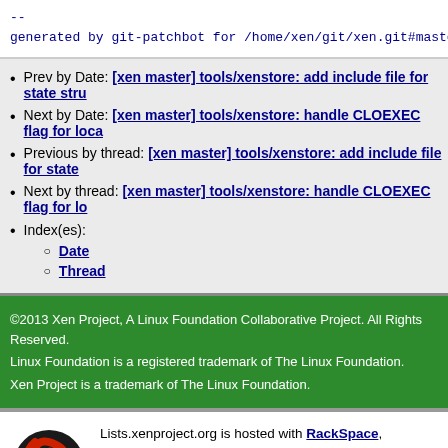--
generated by git-patchbot for /home/xen/git/xen.git#master
Prev by Date: [xen master] tools/xenstore: add include file for state stru...
Next by Date: [xen master] tools/xenstore: handle CLOEXEC flag for loca...
Previous by thread: [xen master] tools/xenstore: add include file for state...
Next by thread: [xen master] tools/xenstore: handle CLOEXEC flag for lo...
Index(es): Date, Thread
©2013 Xen Project, A Linux Foundation Collaborative Project. All Rights Reserved.
Linux Foundation is a registered trademark of The Linux Foundation.
Xen Project is a trademark of The Linux Foundation.
Lists.xenproject.org is hosted with RackSpace, monitoring our servers 24x7x365 and backed by RackSpace's Fanatical Support®.